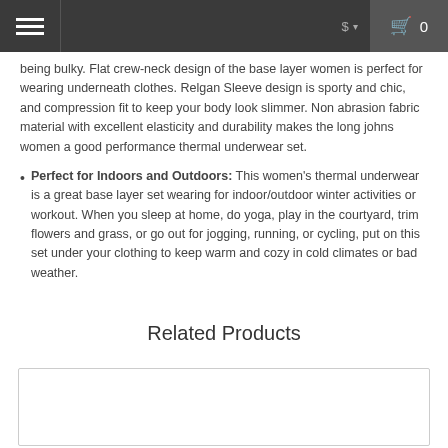$ 0
being bulky. Flat crew-neck design of the base layer women is perfect for wearing underneath clothes. Relgan Sleeve design is sporty and chic, and compression fit to keep your body look slimmer. Non abrasion fabric material with excellent elasticity and durability makes the long johns women a good performance thermal underwear set.
Perfect for Indoors and Outdoors: This women's thermal underwear is a great base layer set wearing for indoor/outdoor winter activities or workout. When you sleep at home, do yoga, play in the courtyard, trim flowers and grass, or go out for jogging, running, or cycling, put on this set under your clothing to keep warm and cozy in cold climates or bad weather.
Related Products
[Figure (other): Product card placeholder area (empty white rectangle with border)]